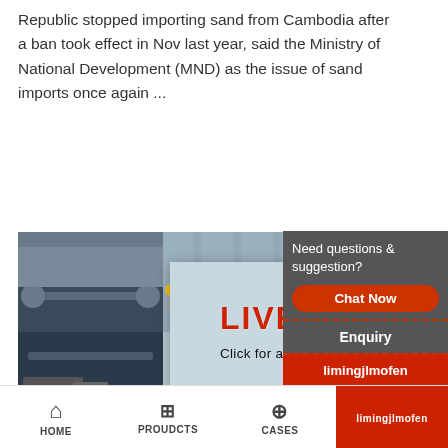Republic stopped importing sand from Cambodia after a ban took effect in Nov last year, said the Ministry of National Development (MND) as the issue of sand imports once again ...
[Figure (photo): Construction/industrial site photo on the left, construction workers with yellow hard hats on the right]
[Figure (screenshot): Live Chat popup overlay with red 'LIVE CHAT' heading, 'Click for a Free Consultation' subtitle, 'Chat now' (red) and 'Chat later' (dark) buttons, close button, and customer service representative image]
[Figure (screenshot): Right sidebar with green 'Read More' button and red '24Hrs Online' banner]
regulated under the Customs Act, the Goods and (GST) Act and the Regulation of Imports and Expo goods are subject to GST and/or duty payment. A is required to account for the import and tax paym
[Figure (screenshot): Right sidebar widget: 'Need questions & suggestion?' with red 'Chat Now' oval button, dashed separator, 'Enquiry' text, and red 'limingjlmofen' bar at bottom]
HOME   PROUDCTS   CASES   limingjlmofen